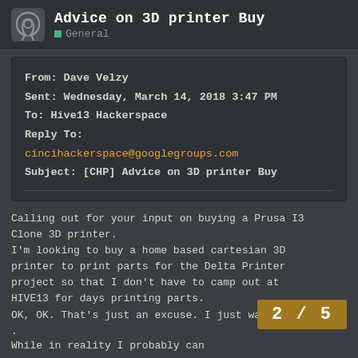Advice on 3D printer Buy | General
From: Dave Velzy
Sent: Wednesday, March 14, 2018 3:47 PM
To: Hive13 Hackerspace
Reply To: cincihackerspace@googlegroups.com
Subject: [CHP] Advice on 3D printer Buy
Calling out for your input on buying a Prusa I3 Clone 3D printer.
I'm looking to buy a home based cartesian 3D printer to print parts for the Delta Printer project so that I don't have to camp out at HIVE13 for days printing parts.
OK, OK. That's just an excuse. I just want one.
.

While in reality I probably can
2 / 5